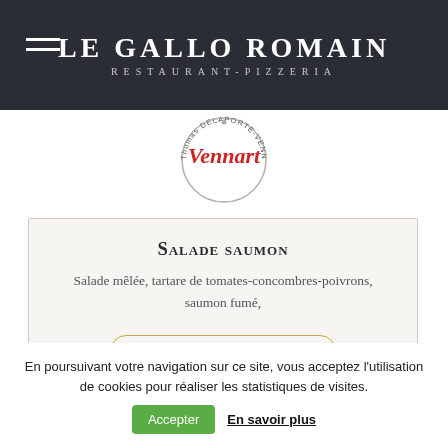LE GALLO ROMAIN
Restaurant-Pizzeria
[Figure (logo): Circular logo reading 'Vennart Thomas DELAPORTE-VENNA' with red script text in center]
Salade Saumon
Salade mêlée, tartare de tomates-concombres-poivrons, saumon fumé,
AJOUTER AU PANIER
En poursuivant votre navigation sur ce site, vous acceptez l'utilisation de cookies pour réaliser les statistiques de visites.
Accepter  En savoir plus